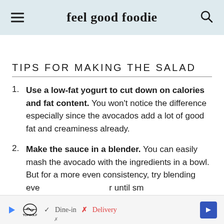feel good foodie
TIPS FOR MAKING THE SALAD
Use a low-fat yogurt to cut down on calories and fat content. You won't notice the difference especially since the avocados add a lot of good fat and creaminess already.
Make the sauce in a blender. You can easily mash the avocado with the ingredients in a bowl. But for a more even consistency, try blending everything in a blender until smooth.